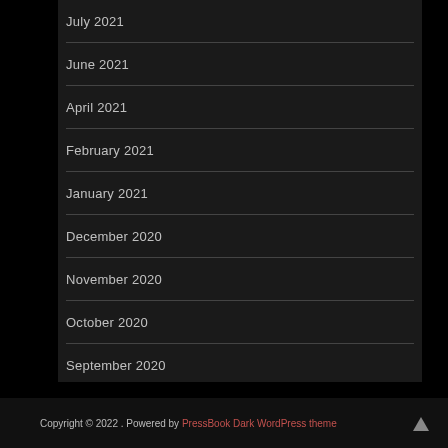July 2021
June 2021
April 2021
February 2021
January 2021
December 2020
November 2020
October 2020
September 2020
August 2020
Copyright © 2022 . Powered by PressBook Dark WordPress theme